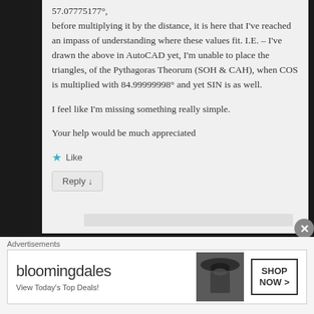57.07775177°, before multiplying it by the distance, it is here that I've reached an impass of understanding where these values fit. I.E. – I've drawn the above in AutoCAD yet, I'm unable to place the triangles, of the Pythagoras Theorum (SOH & CAH), when COS is multiplied with 84.99999998° and yet SIN is as well.
I feel like I'm missing something really simple.
Your help would be much appreciated
★ Like
Reply ↓
Advertisements
[Figure (infographic): Bloomingdale's advertisement banner: 'bloomingdales – View Today's Top Deals!' with a woman wearing a wide-brim hat and a SHOP NOW > button]